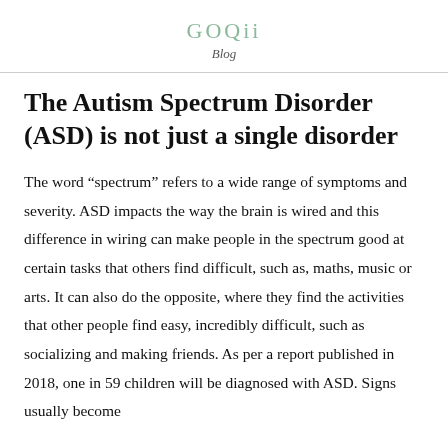GOQii
Blog
The Autism Spectrum Disorder (ASD) is not just a single disorder
The word “spectrum” refers to a wide range of symptoms and severity. ASD impacts the way the brain is wired and this difference in wiring can make people in the spectrum good at certain tasks that others find difficult, such as, maths, music or arts. It can also do the opposite, where they find the activities that other people find easy, incredibly difficult, such as socializing and making friends. As per a report published in 2018, one in 59 children will be diagnosed with ASD. Signs usually become